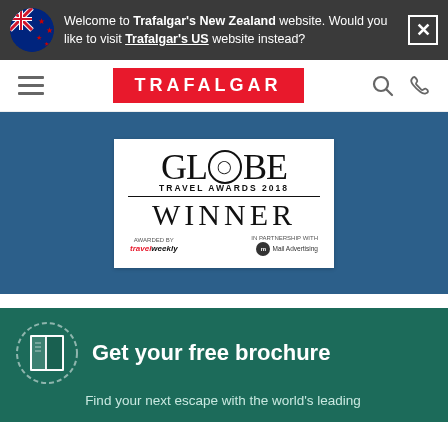Welcome to Trafalgar's New Zealand website. Would you like to visit Trafalgar's US website instead?
[Figure (screenshot): Trafalgar navigation bar with red TRAFALGAR logo, hamburger menu, search and phone icons]
[Figure (illustration): Globe Travel Awards 2018 Winner badge on blue background, sponsored by travelweekly and Mail Advertising]
Get your free brochure
Find your next escape with the world's leading